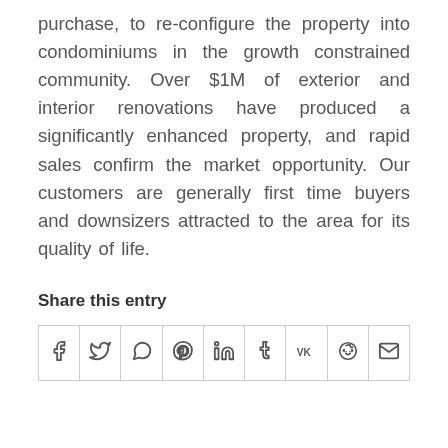purchase, to re-configure the property into condominiums in the growth constrained community. Over $1M of exterior and interior renovations have produced a significantly enhanced property, and rapid sales confirm the market opportunity. Our customers are generally first time buyers and downsizers attracted to the area for its quality of life.
Share this entry
[Figure (infographic): Social sharing icons in a row: Facebook, Twitter, WhatsApp, Pinterest, LinkedIn, Tumblr, VK, Reddit, Email]